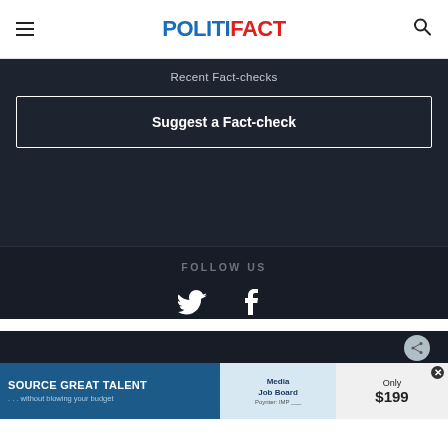POLITIFACT
Recent Fact-checks
Suggest a Fact-check
FOLLOW US
[Figure (infographic): Twitter and Facebook social media icons in white on dark background]
[Figure (infographic): Advertisement banner: SOURCE GREAT TALENT ...without blowing your budget, Media Job Board, Only $199]